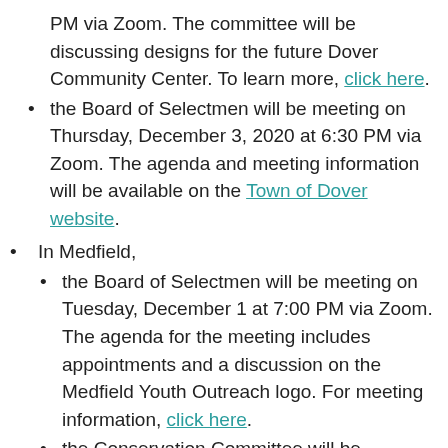PM via Zoom. The committee will be discussing designs for the future Dover Community Center. To learn more, click here.
the Board of Selectmen will be meeting on Thursday, December 3, 2020 at 6:30 PM via Zoom. The agenda and meeting information will be available on the Town of Dover website.
In Medfield,
the Board of Selectmen will be meeting on Tuesday, December 1 at 7:00 PM via Zoom. The agenda for the meeting includes appointments and a discussion on the Medfield Youth Outreach logo. For meeting information, click here.
the Conservation Committee will be